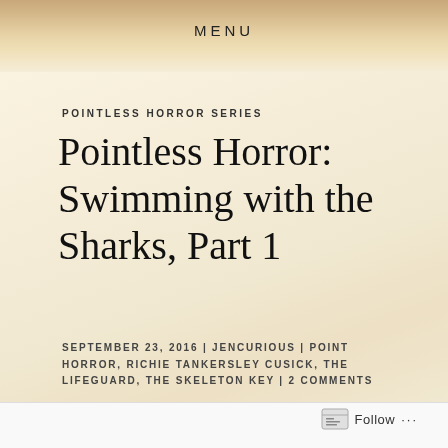MENU
POINTLESS HORROR SERIES
Pointless Horror: Swimming with the Sharks, Part 1
SEPTEMBER 23, 2016 | JENCURIOUS | POINT HORROR, RICHIE TANKERSLEY CUSICK, THE LIFEGUARD, THE SKELETON KEY | 2 COMMENTS
Follow